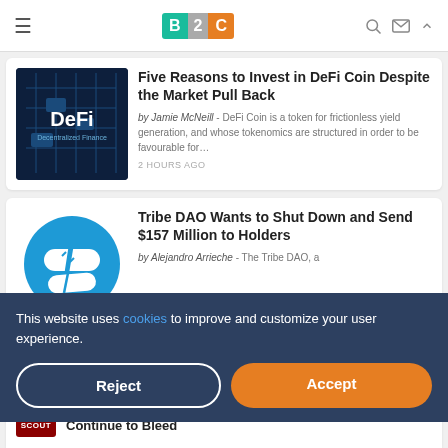B2C - Business 2 Community
[Figure (screenshot): DeFi article thumbnail with dark blue circuit board background and white DeFi text]
Five Reasons to Invest in DeFi Coin Despite the Market Pull Back
by Jamie McNeill - DeFi Coin is a token for frictionless yield generation, and whose tokenomics are structured in order to be favourable for…
2 HOURS AGO
[Figure (illustration): Tribe DAO logo - broken pill/tablet icon on blue circle background]
Tribe DAO Wants to Shut Down and Send $157 Million to Holders
by Alejandro Arrieche - The Tribe DAO, a
This website uses cookies to improve and customize your user experience.
Reject
Accept
Continue to Bleed